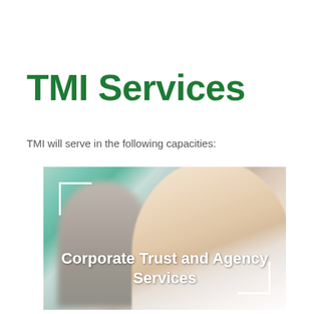TMI Services
TMI will serve in the following capacities:
[Figure (photo): Business professionals in the foreground and background, one man smiling in a suit with a blue tie, with white bracket corner decorations and overlay text reading 'Corporate Trust and Agency Services']